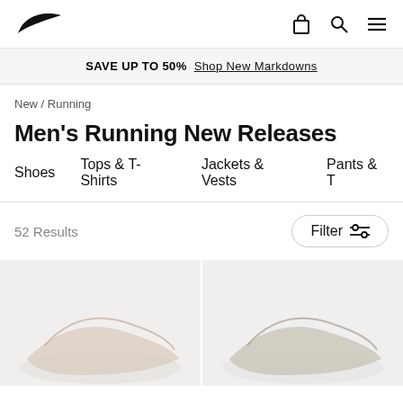Nike logo, bag icon, search icon, menu icon
SAVE UP TO 50% Shop New Markdowns
New / Running
Men's Running New Releases
Shoes  Tops & T-Shirts  Jackets & Vests  Pants & T
52 Results
Filter
[Figure (photo): Two running shoes on light grey backgrounds, cropped at bottom of page — one on the left and one on the right]